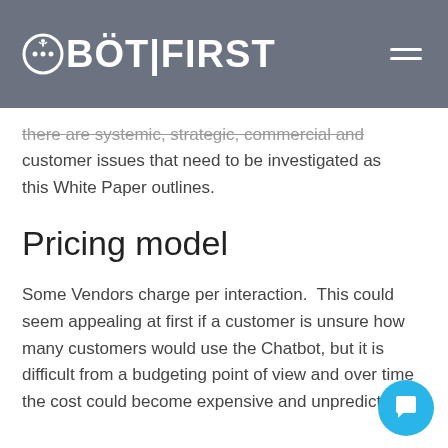BOT|FIRST
there are systemic, strategic, commercial and customer issues that need to be investigated as this White Paper outlines.
Pricing model
Some Vendors charge per interaction.  This could seem appealing at first if a customer is unsure how many customers would use the Chatbot, but it is difficult from a budgeting point of view and over time the cost could become expensive and unpredictable.